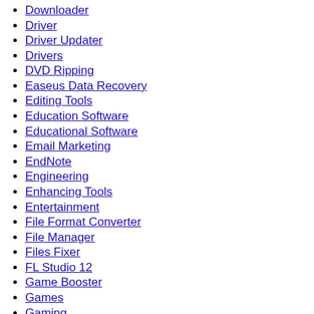Downloader
Driver
Driver Updater
Drivers
DVD Ripping
Easeus Data Recovery
Editing Tools
Education Software
Educational Software
Email Marketing
EndNote
Engineering
Enhancing Tools
Entertainment
File Format Converter
File Manager
Files Fixer
FL Studio 12
Game Booster
Games
Gaming
Graphic Design
Graphic Design Software
Graphic Designing
Graphics